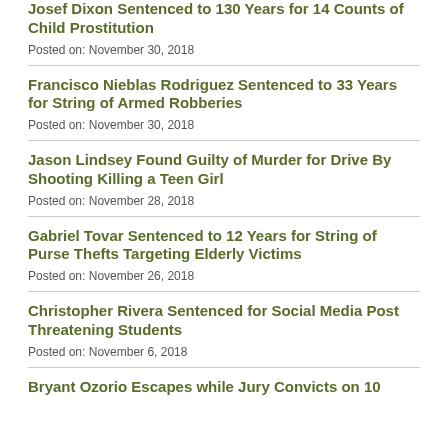Josef Dixon Sentenced to 130 Years for 14 Counts of Child Prostitution
Posted on: November 30, 2018
Francisco Nieblas Rodriguez Sentenced to 33 Years for String of Armed Robberies
Posted on: November 30, 2018
Jason Lindsey Found Guilty of Murder for Drive By Shooting Killing a Teen Girl
Posted on: November 28, 2018
Gabriel Tovar Sentenced to 12 Years for String of Purse Thefts Targeting Elderly Victims
Posted on: November 26, 2018
Christopher Rivera Sentenced for Social Media Post Threatening Students
Posted on: November 6, 2018
Bryant Ozorio Escapes while Jury Convicts on 10